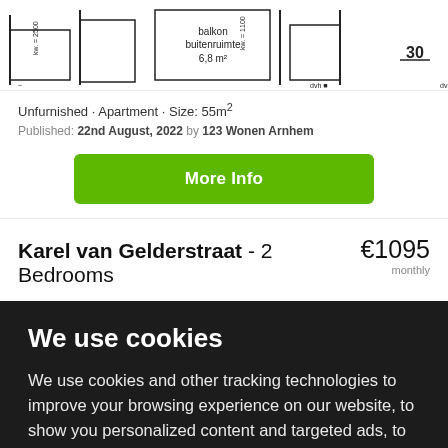[Figure (engineering-diagram): Partial floor plan showing balkon buitenruimte 6.8 m² and room dimensions with kw. measurements and number 30]
Unfurnished · Apartment · Size: 55m²
Published: 22nd August, 2022 by 123 Wonen Arnhem
More Info
Karel van Gelderstraat - 2 Bedrooms €1095 monthly
We use cookies
We use cookies and other tracking technologies to improve your browsing experience on our website, to show you personalized content and targeted ads, to analyze our website traffic, and to understand where our visitors are coming from.